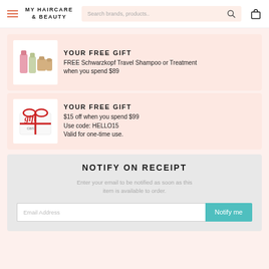MY HAIRCARE & BEAUTY — Search brands, products..
YOUR FREE GIFT
FREE Schwarzkopf Travel Shampoo or Treatment when you spend $89
YOUR FREE GIFT
$15 off when you spend $99
Use code: HELLO15
Valid for one-time use.
NOTIFY ON RECEIPT
Enter your email to be notified as soon as this item is available to order.